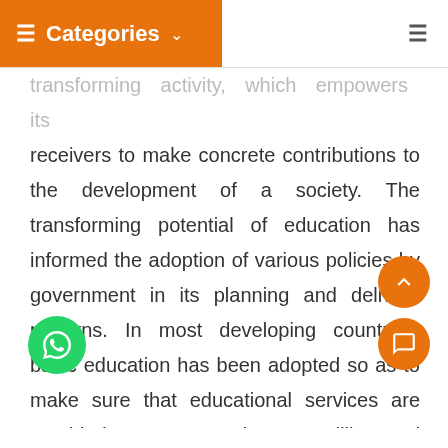Categories
transforming activity, which empowers its receivers to make concrete contributions to the development of a society. The transforming potential of education has informed the adoption of various policies by government in its planning and delivery patterns. In most developing countries, basic education has been adopted so as to make sure that educational services are provided to as many that are willing and ready to consume it as possible. The reason is to make sure that skills and knowledge are provided for young people for their personal development and their societies. The...